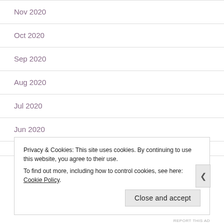Nov 2020
Oct 2020
Sep 2020
Aug 2020
Jul 2020
Jun 2020
Privacy & Cookies: This site uses cookies. By continuing to use this website, you agree to their use.
To find out more, including how to control cookies, see here: Cookie Policy
REPORT THIS AD